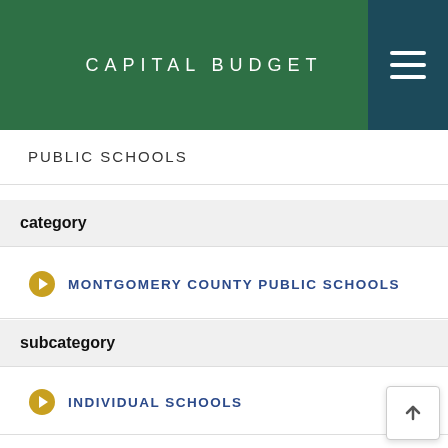CAPITAL BUDGET
PUBLIC SCHOOLS
category
MONTGOMERY COUNTY PUBLIC SCHOOLS
subcategory
INDIVIDUAL SCHOOLS